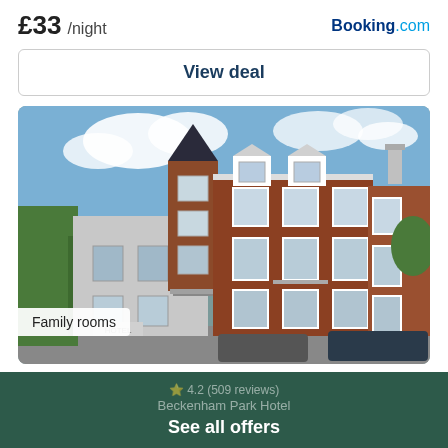£33 /night
Booking.com
View deal
[Figure (photo): Exterior photograph of Beckenham Park Hotel, a Victorian-era red brick building with white-framed windows, a dark conical tower, and parked cars in front. Blue sky with clouds visible above.]
Family rooms
⭐ 4.2 (509 reviews)
Beckenham Park Hotel
See all offers